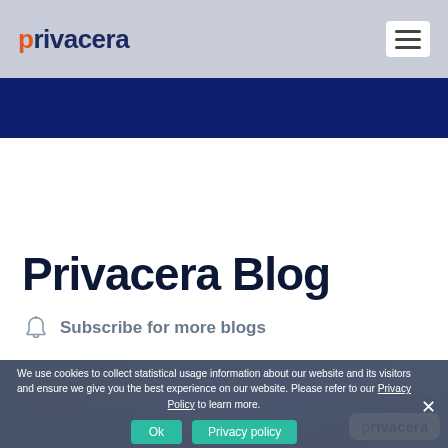privacera
Privacera Blog
Subscribe for more blogs
We use cookies to collect statistical usage information about our website and its visitors and ensure we give you the best experience on our website. Please refer to our Privacy Policy to learn more.